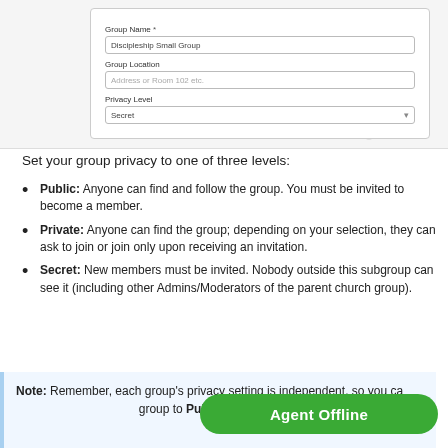[Figure (screenshot): Screenshot of a group settings form with fields: Group Name (filled with 'Discipleship Small Group'), Group Location (placeholder 'Address or Room 102 etc.'), Privacy Level (dropdown set to 'Secret'). A scrollbar is visible on the right edge.]
Set your group privacy to one of three levels:
Public: Anyone can find and follow the group. You must be invited to become a member.
Private: Anyone can find the group; depending on your selection, they can ask to join or join only upon receiving an invitation.
Secret: New members must be invited. Nobody outside this subgroup can see it (including other Admins/Moderators of the parent church group).
Note: Remember, each group's privacy setting is independent, so you can set your parent church group to Public and your subgroup to Private or